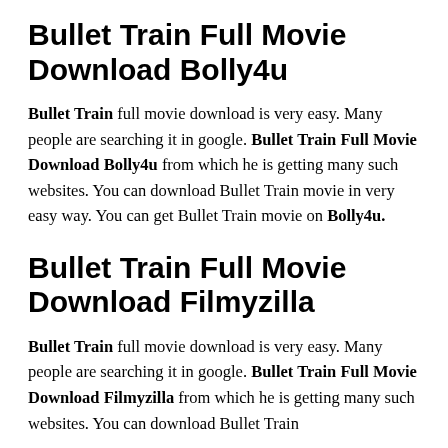Bullet Train Full Movie Download Bolly4u
Bullet Train full movie download is very easy. Many people are searching it in google. Bullet Train Full Movie Download Bolly4u from which he is getting many such websites. You can download Bullet Train movie in very easy way. You can get Bullet Train movie on Bolly4u.
Bullet Train Full Movie Download Filmyzilla
Bullet Train full movie download is very easy. Many people are searching it in google. Bullet Train Full Movie Download Filmyzilla from which he is getting many such websites. You can download Bullet Train